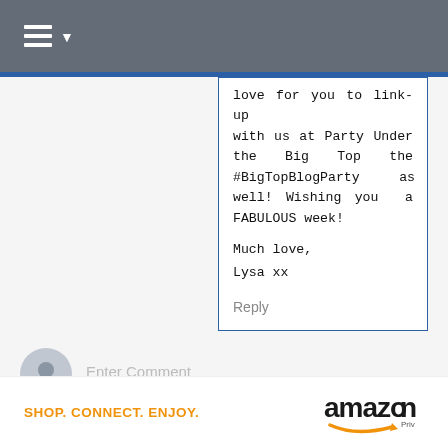[Figure (screenshot): Navigation bar with hamburger menu icon and dropdown arrow on dark gray background]
love for you to link-up with us at Party Under the Big Top the #BigTopBlogParty as well! Wishing you a FABULOUS week!

Much love,
Lysa xx
Reply
Enter Comment
[Figure (logo): Amazon logo with 'SHOP. CONNECT. ENJOY.' tagline in orange]